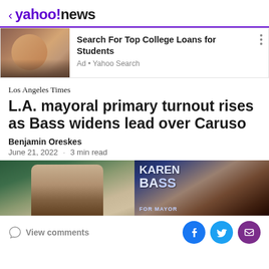< yahoo!news
[Figure (photo): Ad banner with photo of woman at laptop on left, text 'Search For Top College Loans for Students' on right]
Search For Top College Loans for Students
Ad • Yahoo Search
Los Angeles Times
L.A. mayoral primary turnout rises as Bass widens lead over Caruso
Benjamin Oreskes
June 21, 2022 · 3 min read
[Figure (photo): Two side-by-side photos: left shows a man (Rick Caruso) with green flag in background; right shows Karen Bass campaign event with 'KAREN BASS FOR MAYOR' sign]
View comments